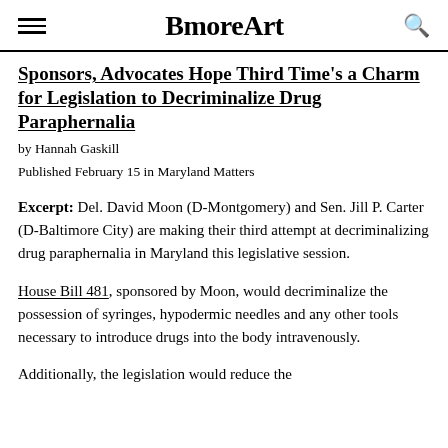BmoreArt
Sponsors, Advocates Hope Third Time's a Charm for Legislation to Decriminalize Drug Paraphernalia
by Hannah Gaskill
Published February 15 in Maryland Matters
Excerpt: Del. David Moon (D-Montgomery) and Sen. Jill P. Carter (D-Baltimore City) are making their third attempt at decriminalizing drug paraphernalia in Maryland this legislative session.
House Bill 481, sponsored by Moon, would decriminalize the possession of syringes, hypodermic needles and any other tools necessary to introduce drugs into the body intravenously.
Additionally, the legislation would reduce the